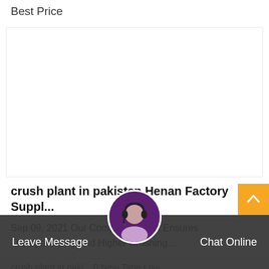Best Price
crush plant in pakistan Henan Factory Suppl...
Sep 09, 2021 Our Compact Design Ensures Transportability And Higher Crushing...
crush plant in paki... 0 New Type Low Price Jaw
Leave Message   Chat Online